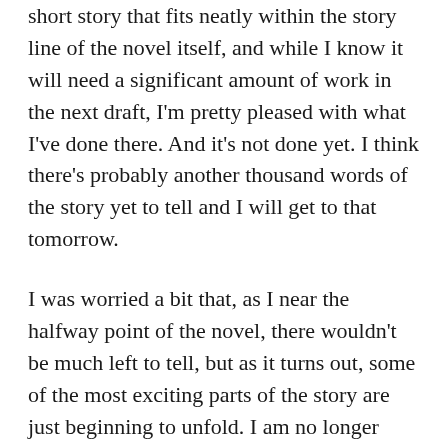short story that fits neatly within the story line of the novel itself, and while I know it will need a significant amount of work in the next draft, I'm pretty pleased with what I've done there. And it's not done yet. I think there's probably another thousand words of the story yet to tell and I will get to that tomorrow.
I was worried a bit that, as I near the halfway point of the novel, there wouldn't be much left to tell, but as it turns out, some of the most exciting parts of the story are just beginning to unfold. I am no longer concerned that 90,000 words will be too much. It will be reigning the story in that will be the challenge.
My current pace is 2,228 words/day, more than 10% above my personal goal, and well above NaNoWriMo